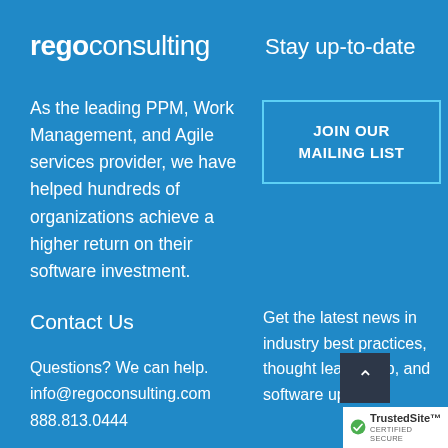regoconsulting
Stay up-to-date
As the leading PPM, Work Management, and Agile services provider, we have helped hundreds of organizations achieve a higher return on their software investment.
[Figure (other): JOIN OUR MAILING LIST button with cyan border on blue background]
Get the latest news in industry best practices, thought leadership, and software updates.
Contact Us
Questions? We can help.
info@regoconsulting.com
888.813.0444
[Figure (other): Back to top arrow button (dark background with upward caret)]
[Figure (logo): TrustedSite Certified Secure badge]